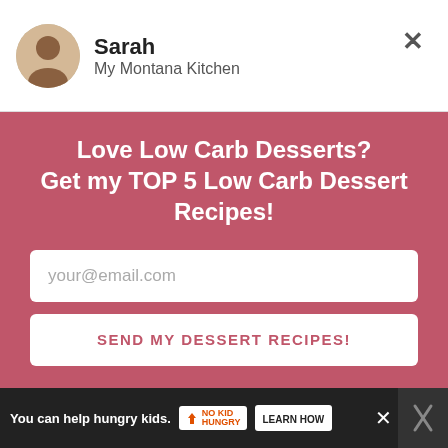Sarah — My Montana Kitchen
Love Low Carb Desserts?
Get my TOP 5 Low Carb Dessert Recipes!
your@email.com
SEND MY DESSERT RECIPES!
chicken, too. And mmm, you can also make up some low carb Indian Fry Bread to dip it or just enjoy on the [...]
Reply
You can help hungry kids. NO KID HUNGRY LEARN HOW